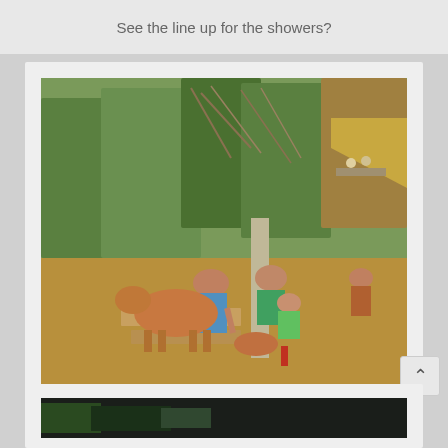See the line up for the showers?
[Figure (photo): Outdoor scene in a rural tropical setting. A cow stands near wooden planks on a dirt ground. Several people, including adults and a small child in a green shirt, gather around a concrete post structure, seemingly waiting. Dry trees and dense vegetation are visible in the background. A thatched-roof structure is visible on the right.]
Even the cow waits patiently for it's turn
[Figure (photo): Partial view of a second photo at the bottom of the page, mostly cut off.]